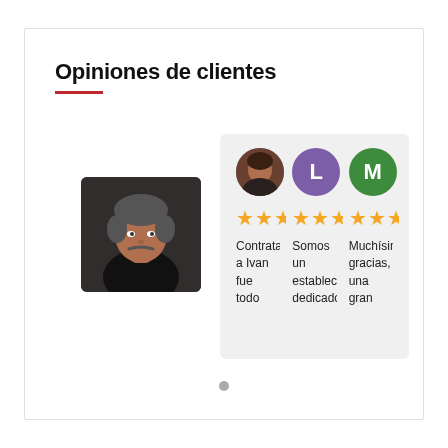Opiniones de clientes
[Figure (photo): Photo of a man (Ivan) in a dark jacket, used as a reviewer profile picture on the left side]
[Figure (screenshot): Google Reviews widget showing three review cards with star ratings (4.5 stars each) and partial review text: 'Contratar a Ivan fue todo', 'Somos un estableci dedicado', 'Muchísim gracias, una gran'. Each card has a reviewer avatar/photo and a Google icon badge with the number 2.]
Contratar a Ivan fue todo
Somos un estableci dedicado
Muchísim gracias, una gran